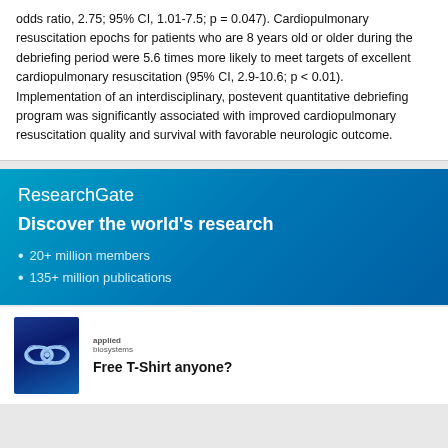odds ratio, 2.75; 95% CI, 1.01-7.5; p = 0.047). Cardiopulmonary resuscitation epochs for patients who are 8 years old or older during the debriefing period were 5.6 times more likely to meet targets of excellent cardiopulmonary resuscitation (95% CI, 2.9-10.6; p < 0.01). Implementation of an interdisciplinary, postevent quantitative debriefing program was significantly associated with improved cardiopulmonary resuscitation quality and survival with favorable neurologic outcome.
[Figure (infographic): ResearchGate promotional banner with gradient blue background. Shows ResearchGate logo, tagline 'Discover the world's research', and bullet points: '20+ million members' and '135+ million publications'. Has a close (X) button in lower right.]
[Figure (infographic): Advertisement for Applied Biosystems showing infinity loop logo on dark blue background, brand name 'applied biosystems', and text 'Free T-Shirt anyone?']